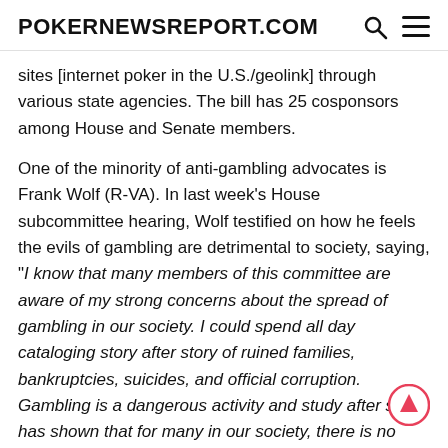POKERNEWSREPORT.COM
sites [internet poker in the U.S./geolink] through various state agencies. The bill has 25 cosponsors among House and Senate members.
One of the minority of anti-gambling advocates is Frank Wolf (R-VA). In last week's House subcommittee hearing, Wolf testified on how he feels the evils of gambling are detrimental to society, saying, "I know that many members of this committee are aware of my strong concerns about the spread of gambling in our society. I could spend all day cataloging story after story of ruined families, bankruptcies, suicides, and official corruption. Gambling is a dangerous activity and study after study has shown that for many in our society, there is no question that it is strongly addictive."